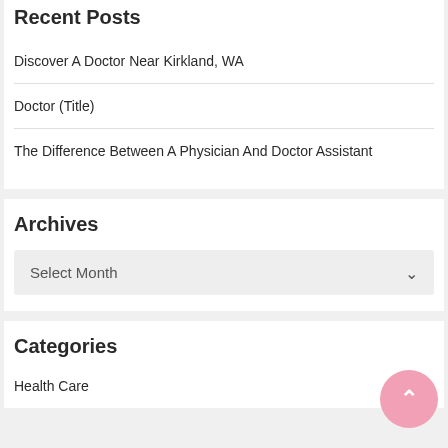Recent Posts
Discover A Doctor Near Kirkland, WA
Doctor (Title)
The Difference Between A Physician And Doctor Assistant
Archives
Select Month
Categories
Health Care